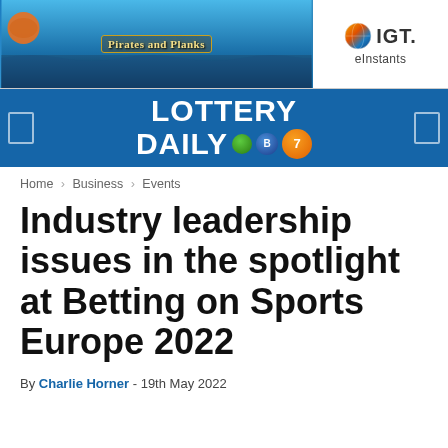[Figure (screenshot): Banner advertisement split into two parts: left side shows 'Pirates and Planks' game with ocean/pirate theme background in blue tones; right side shows IGT eInstants logo on white background with colorful globe icon.]
[Figure (logo): Lottery Daily navigation bar with white bold text 'LOTTERY DAILY' on blue background, accompanied by lottery ball icons (orange with 7, green, blue with B), and two navigation icon boxes on left and right ends.]
Home › Business › Events
Industry leadership issues in the spotlight at Betting on Sports Europe 2022
By Charlie Horner - 19th May 2022